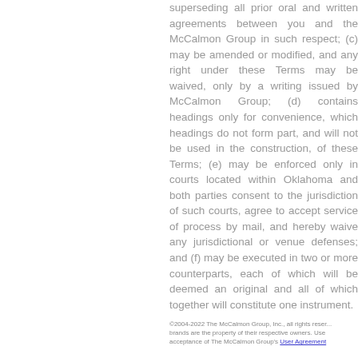superseding all prior oral and written agreements between you and the McCalmon Group in such respect; (c) may be amended or modified, and any right under these Terms may be waived, only by a writing issued by McCalmon Group; (d) contains headings only for convenience, which headings do not form part, and will not be used in the construction, of these Terms; (e) may be enforced only in courts located within Oklahoma and both parties consent to the jurisdiction of such courts, agree to accept service of process by mail, and hereby waive any jurisdictional or venue defenses; and (f) may be executed in two or more counterparts, each of which will be deemed an original and all of which together will constitute one instrument.
©2004-2022 The McCalmon Group, Inc., all rights reserved. brands are the property of their respective owners. Use acceptance of The McCalmon Group's User Agreement